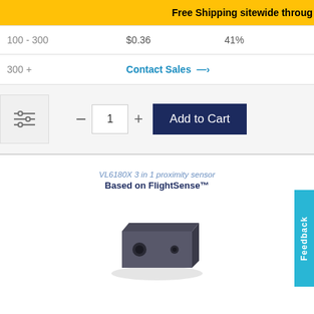Free Shipping sitewide throug
| 100 - 300 | $0.36 | 41% |
| 300 + | Contact Sales → |  |
[Figure (screenshot): Quantity selector with minus button, input field showing 1, plus button, and Add to Cart button]
[Figure (photo): VL6180X 3 in 1 proximity sensor product image with text 'Based on FlightSense™' and photo of small dark rectangular sensor module]